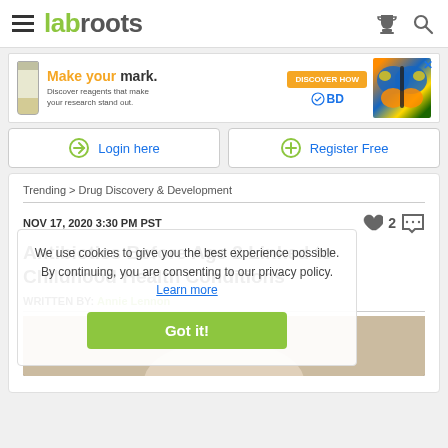labroots
[Figure (infographic): BD advertisement banner: Make your mark. Discover reagents that make your research stand out. Discover How. BD logo. Butterfly image on right.]
Login here
Register Free
Trending > Drug Discovery & Development
NOV 17, 2020 3:30 PM PST
Antibiotics Before Age 2 Linked to Childhood Health Conditions
WRITTEN BY: Annie Lennon
[Figure (photo): Partial photo of a child, visible at the bottom of the page]
We use cookies to give you the best experience possible. By continuing, you are consenting to our privacy policy. Learn more
Got it!